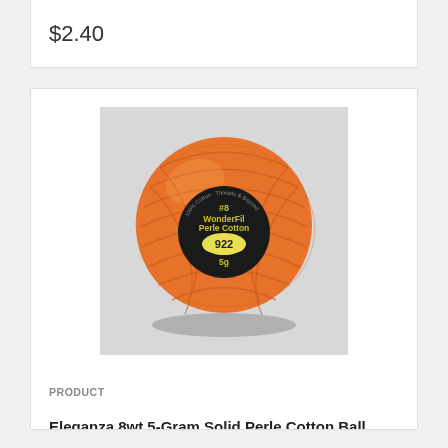$2.40
[Figure (photo): Orange perle cotton thread ball with black label showing #8 WonderFil Perle Cotton 922 5g]
PRODUCT
Eleganza 8wt 5-Gram Solid Perle Cotton Ball 42yd Ruddy Brown
$2.40